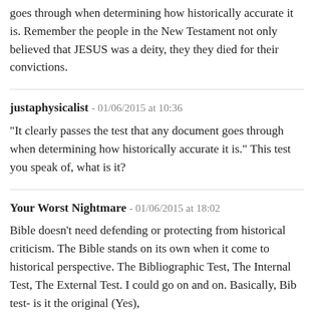goes through when determining how historically accurate it is. Remember the people in the New Testament not only believed that JESUS was a deity, they they died for their convictions.
justaphysicalist - 01/06/2015 at 10:36
"It clearly passes the test that any document goes through when determining how historically accurate it is." This test you speak of, what is it?
Your Worst Nightmare - 01/06/2015 at 18:02
Bible doesn't need defending or protecting from historical criticism. The Bible stands on its own when it come to historical perspective. The Bibliographic Test, The Internal Test, The External Test. I could go on and on. Basically, Bib test- is it the original (Yes),